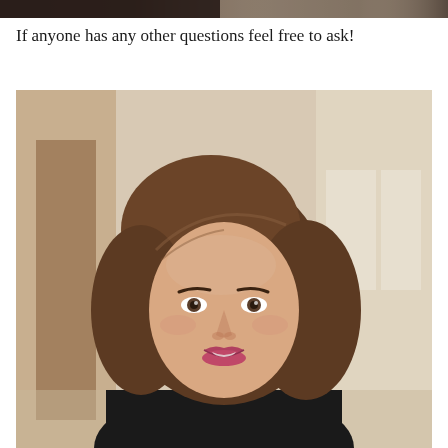[Figure (photo): Cropped top portion of a photo, dark tones, partial view]
If anyone has any other questions feel free to ask!
[Figure (photo): Portrait photo of a woman with brown shoulder-length hair, smiling, wearing a dark top, standing in a light-colored interior space with a doorway visible in the background]